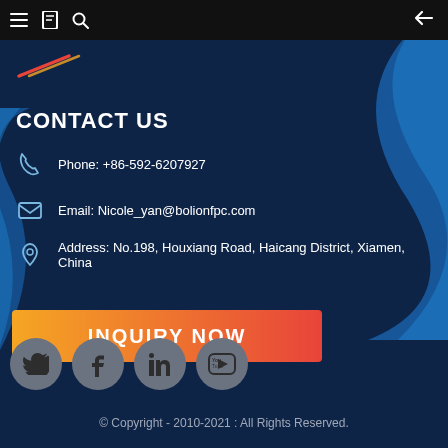Navigation bar with menu, bookmark, search icons and back arrow
[Figure (logo): Company logo with orange/red swoosh lines on dark blue background]
CONTACT US
Phone: +86-592-6207927
Email: Nicole_yan@bolionfpc.com
Address: No.198, Houxiang Road, Haicang District, Xiamen, China
INQUIRY NOW
[Figure (infographic): Social media icons row: Twitter, Facebook, LinkedIn, YouTube]
© Copyright - 2010-2021 : All Rights Reserved.